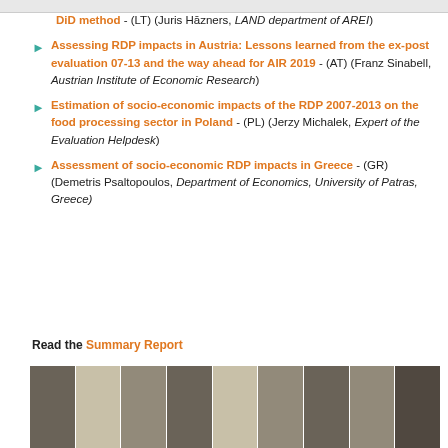DiD method - (LT) (Juris Hāzners, LAND department of AREI)
Assessing RDP impacts in Austria: Lessons learned from the ex-post evaluation 07-13 and the way ahead for AIR 2019 - (AT) (Franz Sinabell, Austrian Institute of Economic Research)
Estimation of socio-economic impacts of the RDP 2007-2013 on the food processing sector in Poland - (PL) (Jerzy Michalek, Expert of the Evaluation Helpdesk)
Assessment of socio-economic RDP impacts in Greece - (GR) (Demetris Psaltopoulos, Department of Economics, University of Patras, Greece)
Read the Summary Report
[Figure (photo): A strip of photos showing people and buildings, rendered as a horizontal collage at the bottom of the page.]